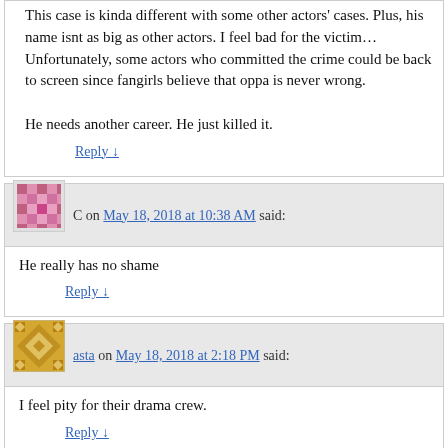This case is kinda different with some other actors' cases. Plus, his name isnt as big as other actors. I feel bad for the victim… Unfortunately, some actors who committed the crime could be back to screen since fangirls believe that oppa is never wrong.

He needs another career. He just killed it.
Reply ↓
C on May 18, 2018 at 10:38 AM said:
He really has no shame
Reply ↓
asta on May 18, 2018 at 2:18 PM said:
I feel pity for their drama crew.
Reply ↓
Leonardswench on May 18, 2018 at 5:44 PM said: